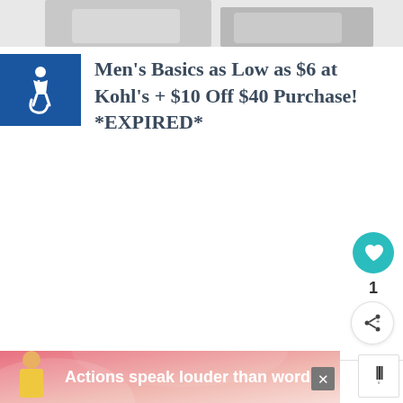[Figure (photo): Partial view of men's clothing/t-shirts on a light gray background, cropped at top]
[Figure (logo): Blue accessibility icon badge (wheelchair symbol) on dark blue square background]
Men's Basics as Low as $6 at Kohl's + $10 Off $40 Purchase! *EXPIRED*
[Figure (other): Teal circular heart/like button]
1
[Figure (other): White circular share button with share icon]
Leave a Reply
WHAT'S NEXT → Shasta Sparkling...
Your email address will not be published. Required fields are
[Figure (infographic): Advertisement banner: 'Actions speak louder than words.' with person in yellow shirt on pink/coral background, with close X button and app logo]